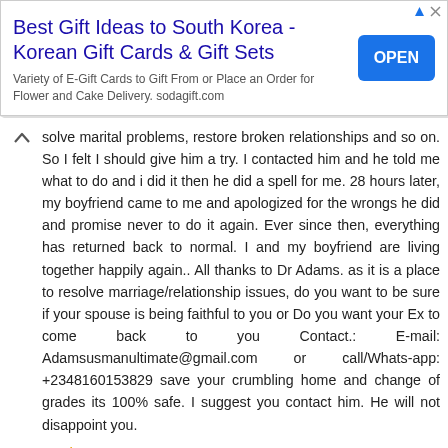[Figure (infographic): Advertisement banner for Best Gift Ideas to South Korea - Korean Gift Cards & Gift Sets with an OPEN button]
solve marital problems, restore broken relationships and so on. So I felt I should give him a try. I contacted him and he told me what to do and i did it then he did a spell for me. 28 hours later, my boyfriend came to me and apologized for the wrongs he did and promise never to do it again. Ever since then, everything has returned back to normal. I and my boyfriend are living together happily again.. All thanks to Dr Adams. as it is a place to resolve marriage/relationship issues, do you want to be sure if your spouse is being faithful to you or Do you want your Ex to come back to you Contact.: E-mail: Adamsusmanultimate@gmail.com or call/Whats-app: +2348160153829 save your crumbling home and change of grades its 100% safe. I suggest you contact him. He will not disappoint you.
Reply